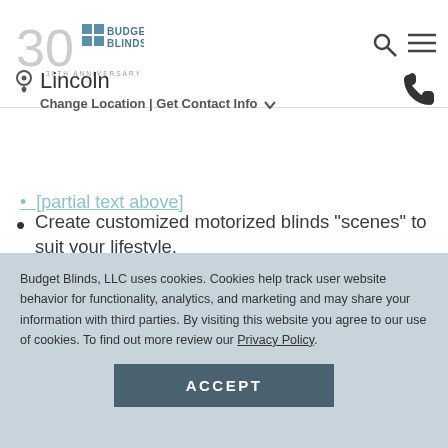Budget Blinds 30th Anniversary — Lincoln | Change Location | Get Contact Info
Create customized motorized blinds "scenes" to suit your lifestyle.
Simple, one-touch button operation lets you open or close your remote control window blinds in dramatic fashion.
Budget Blinds, LLC uses cookies. Cookies help track user website behavior for functionality, analytics, and marketing and may share your information with third parties. By visiting this website you agree to our use of cookies. To find out more review our Privacy Policy.